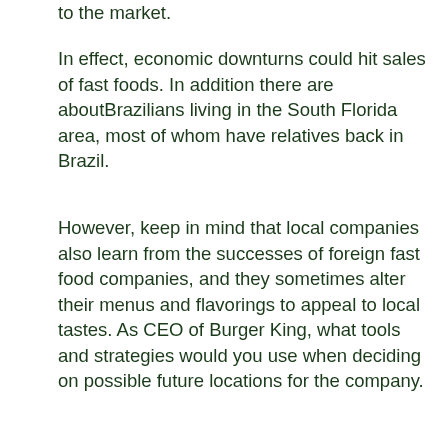to the market.
In effect, economic downturns could hit sales of fast foods. In addition there are aboutBrazilians living in the South Florida area, most of whom have relatives back in Brazil.
However, keep in mind that local companies also learn from the successes of foreign fast food companies, and they sometimes alter their menus and flavorings to appeal to local tastes. As CEO of Burger King, what tools and strategies would you use when deciding on possible future locations for the company.
With about 44 million people, Colombia is the third most populated country in Latin America, after Brazil and Mexico. Burger King has several core competencies starting with their relationship with their franchise companies.
By mid-it had 68 restaurants in Brazil. As CEO of Burger King, what tools and strategies would you use when deciding on possible future locations for the company.